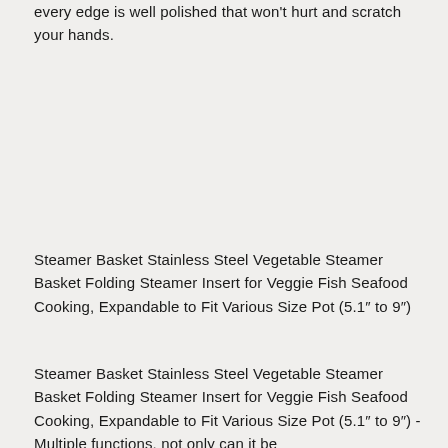every edge is well polished that won't hurt and scratch your hands.
Steamer Basket Stainless Steel Vegetable Steamer Basket Folding Steamer Insert for Veggie Fish Seafood Cooking, Expandable to Fit Various Size Pot (5.1″ to 9″)
Steamer Basket Stainless Steel Vegetable Steamer Basket Folding Steamer Insert for Veggie Fish Seafood Cooking, Expandable to Fit Various Size Pot (5.1″ to 9″) - Multiple functions, not only can it be